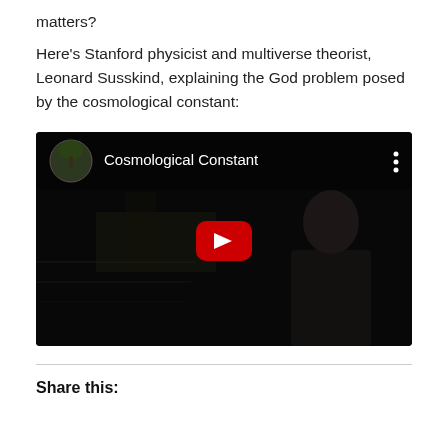matters?
Here's Stanford physicist and multiverse theorist, Leonard Susskind, explaining the God problem posed by the cosmological constant:
[Figure (screenshot): YouTube video thumbnail showing a dark scene with a person (Leonard Susskind) visible on the right side. The video title reads 'Cosmological Constant'. A red YouTube play button is centered on the thumbnail. The top left shows a circular channel thumbnail image.]
Share this: